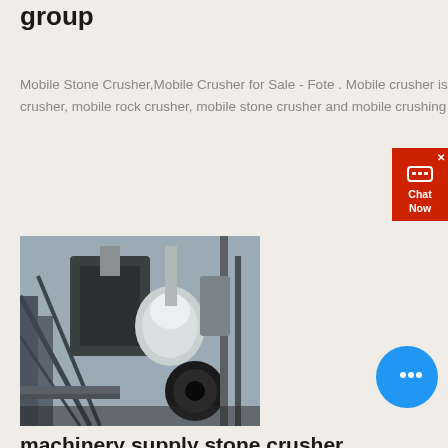group
Mobile Stone Crusher,Mobile Crusher for Sale - Fote . Mobile crusher is also called portable crusher, mobile rock crusher, mobile stone crusher and mobile crushing ...get price
[Figure (photo): Industrial stone crusher machinery in a warehouse/factory setting showing mechanical equipment with structural steel framing]
machinery supply stone crusher, crusher parts, mobile ...
Machinery offers mining and construction equipment for stone crushing, ore dressing, powder production,